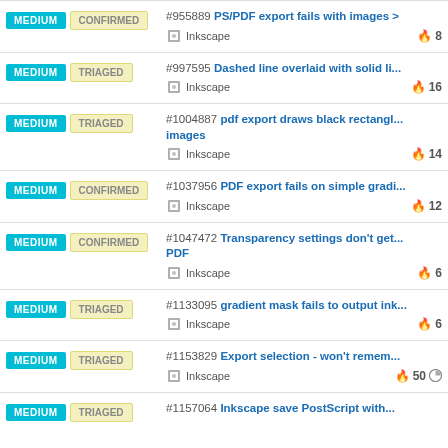#955889 PS/PDF export fails with images > ... | MEDIUM | CONFIRMED | Inkscape | 8
#997595 Dashed line overlaid with solid li... | MEDIUM | TRIAGED | Inkscape | 16
#1004887 pdf export draws black rectangl... images | MEDIUM | TRIAGED | Inkscape | 14
#1037956 PDF export fails on simple gradi... | MEDIUM | CONFIRMED | Inkscape | 12
#1047472 Transparency settings don't get... PDF | MEDIUM | CONFIRMED | Inkscape | 6
#1133095 gradient mask fails to output ink... | MEDIUM | TRIAGED | Inkscape | 6
#1153829 Export selection - won't remem... | MEDIUM | TRIAGED | Inkscape | 50
#1157064 Inkscape save PostScript with... | MEDIUM | TRIAGED